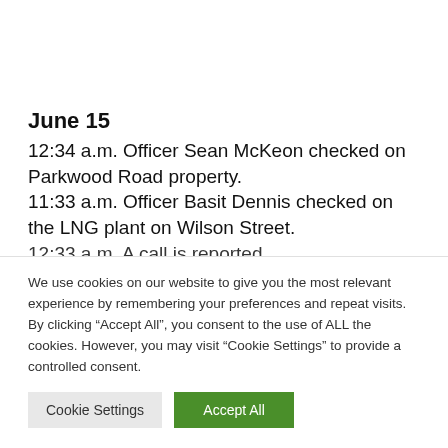June 15
12:34 a.m. Officer Sean McKeon checked on Parkwood Road property.
11:33 a.m. Officer Basit Dennis checked on the LNG plant on Wilson Street.
12:33 a.m. A call is reported... (partially visible, clipped)
We use cookies on our website to give you the most relevant experience by remembering your preferences and repeat visits. By clicking “Accept All”, you consent to the use of ALL the cookies. However, you may visit "Cookie Settings" to provide a controlled consent.